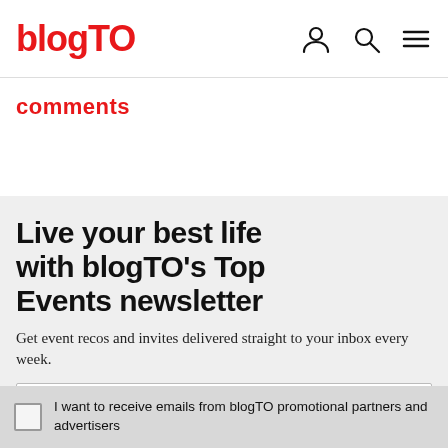blogTO
comments
Live your best life with blogTO’s Top Events newsletter
Get event recos and invites delivered straight to your inbox every week.
Email address
I want to receive emails from blogTO promotional partners and advertisers